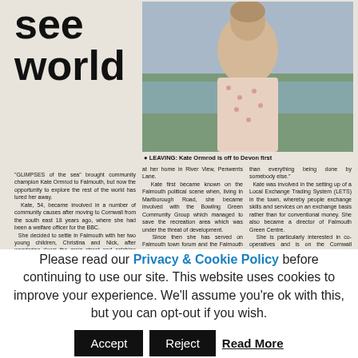see world
[Figure (photo): Woman standing outdoors, wearing a floral sleeveless top, with water and greenery in the background]
● LEAVING: Kate Ormrod is off to Devon first
"GLIMPSES of the sea" brought community champion Kate Ormrod to Falmouth, but now the opportunity to explore the rest of the world has lured her away.
	Kate, 54, became involved in a number of community causes after moving to Cornwall from the south east 18 years ago, where she had been a welfare officer for the BBC.
	She decided to settle in Falmouth with her two young children, Christina and Nick, after wandering down the main street and catching sight of the glistening Carrick Roads between the buildings.
	In the past few months she has become a familiar face at the Oxfam shop in the High Street,
at her home in River View, Penwerris Lane.
	Kate first became known on the Falmouth political scene when, living in Marlborough Road, she became involved with the Bowling Green Community Group which managed to save the recreation area which was under the threat of development.
	Since then she has served on Falmouth town forum and the Falmouth transport infrastructure group. She has urged the town council to take up the idea
than everything being done by somebody else."
	Kate was involved in the setting up of a Local Exchange Trading System (LETS) in the town, whereby people exchange skills and services on an exchange basis rather than for conventional money. She also became a director of Falmouth Green Centre.
	She is particularly interested in co-operatives and is on the Cornwall Committee of the Co-operative group.
	She says she will be sad to
Please read our Privacy & Cookie Policy before continuing to use our site. This website uses cookies to improve your experience. We'll assume you're ok with this, but you can opt-out if you wish.